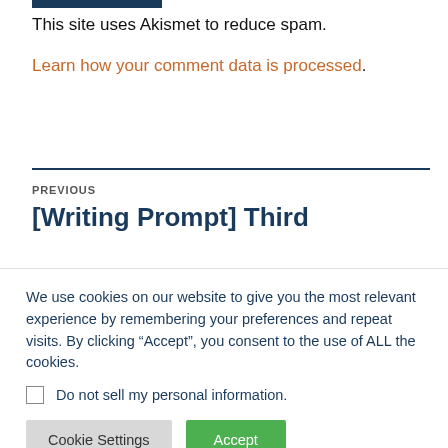This site uses Akismet to reduce spam.
Learn how your comment data is processed.
PREVIOUS
[Writing Prompt] Third
We use cookies on our website to give you the most relevant experience by remembering your preferences and repeat visits. By clicking “Accept”, you consent to the use of ALL the cookies.
Do not sell my personal information.
Cookie Settings
Accept